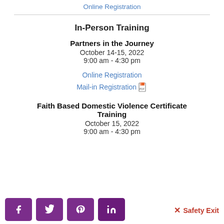Online Registration
In-Person Training
Partners in the Journey
October 14-15, 2022
9:00 am - 4:30 pm
Online Registration
Mail-in Registration
Faith Based Domestic Violence Certificate Training
October 15, 2022
9:00 am - 4:30 pm
Safety Exit | Social share buttons: Facebook, Twitter, Pinterest, LinkedIn